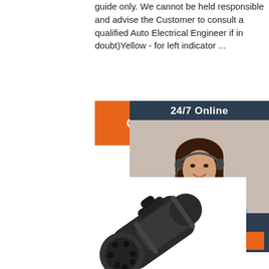guide only. We cannot be held responsible and advise the Customer to consult a qualified Auto Electrical Engineer if in doubt)Yellow - for left indicator ...
[Figure (other): Orange 'Get Price' button]
[Figure (photo): 24/7 Online customer service sidebar with smiling woman wearing headset, 'Click here for free chat!' text and orange QUOTATION button]
[Figure (photo): Black plastic 7-pin trailer plug connector shown at an angle against white background]